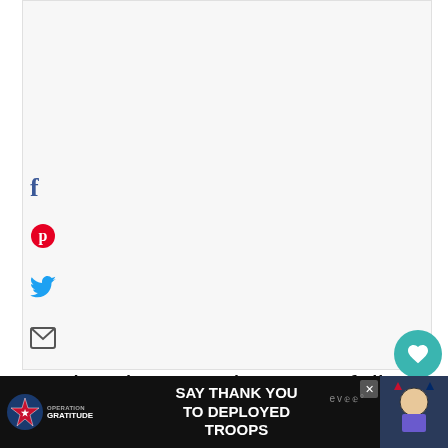[Figure (screenshot): Large light gray placeholder content area at the top of the page, representing an image or ad space]
[Figure (infographic): Social sharing icons on the left side: Facebook (f), Pinterest (p), Twitter bird, Email envelope]
[Figure (infographic): Teal circular save/like button with heart icon showing 826 saves, and a share button below]
Much to her surprise, most folks stopping at her stand for a cool drink o [ev
[Figure (screenshot): Advertisement banner at the bottom: Operation Gratitude - SAY THANK YOU TO DEPLOYED TROOPS with star logo and military cartoon character, with close X button]